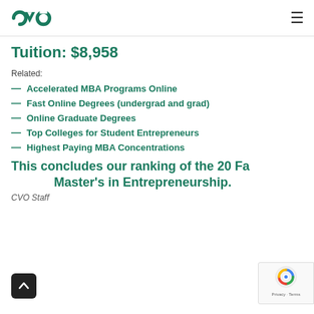CVO
Tuition: $8,958
Related:
Accelerated MBA Programs Online
Fast Online Degrees (undergrad and grad)
Online Graduate Degrees
Top Colleges for Student Entrepreneurs
Highest Paying MBA Concentrations
This concludes our ranking of the 20 Fa... Master's in Entrepreneurship.
CVO Staff